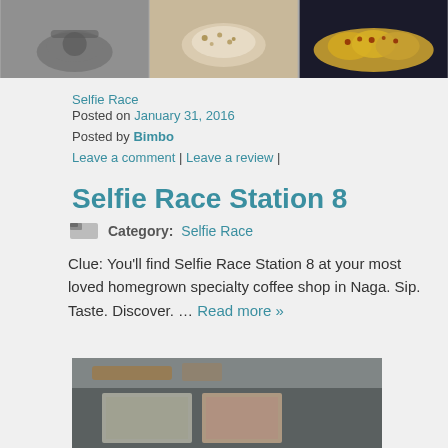[Figure (photo): Three food photos side by side at top of page: coffee/drink on left, white creamy dish in center, yellow pastry dish on right]
Selfie Race
Posted on January 31, 2016
Posted by Bimbo
Leave a comment | Leave a review |
Selfie Race Station 8
Category:   Selfie Race
Clue: You'll find Selfie Race Station 8 at your most loved homegrown specialty coffee shop in Naga. Sip. Taste. Discover. ... Read more »
[Figure (photo): Interior photo of what appears to be a restaurant or cafe, showing ceiling and menu boards on wall]